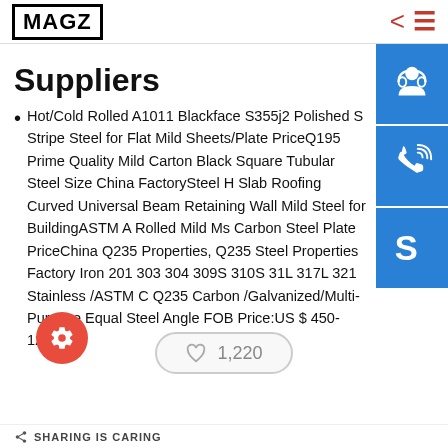MAGZ
Suppliers
Hot/Cold Rolled A1011 Blackface S355j2 Polished S Stripe Steel for Flat Mild Sheets/Plate PriceQ195 Prime Quality Mild Carton Black Square Tubular Steel Size China FactorySteel H Slab Roofing Curved Universal Beam Retaining Wall Mild Steel for BuildingASTM A Rolled Mild Ms Carbon Steel Plate PriceChina Q235 Properties, Q235 Steel Properties Factory Iron 201 303 304 309S 310S 31L 317L 321 Stainless /ASTM C Q235 Carbon /Galvanized/Multi-Purpose Equal Steel Angle FOB Price:US $ 450-1200 /
1,220